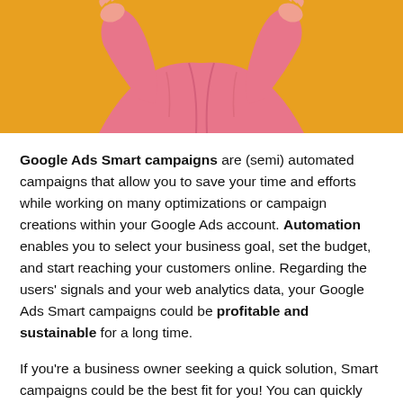[Figure (photo): Person wearing a pink hoodie with hands raised, against an orange/yellow background. Only the torso and hands are visible (cropped at top of page).]
Google Ads Smart campaigns are (semi) automated campaigns that allow you to save your time and efforts while working on many optimizations or campaign creations within your Google Ads account. Automation enables you to select your business goal, set the budget, and start reaching your customers online. Regarding the users' signals and your web analytics data, your Google Ads Smart campaigns could be profitable and sustainable for a long time.
If you're a business owner seeking a quick solution, Smart campaigns could be the best fit for you! You can quickly set up the account and